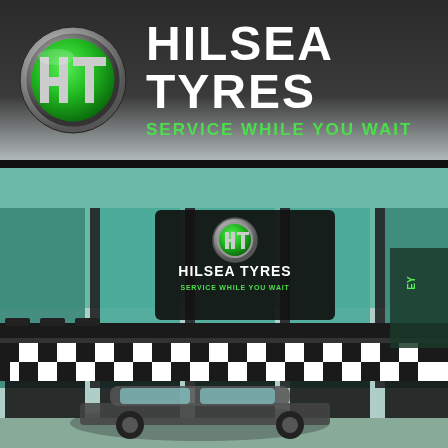[Figure (logo): Hilsea Tyres banner with circular HT logo on dark background. Logo is a chrome-rimmed green circle with stylized H and T letters. Company name HILSEA TYRES in large white bold text, tagline SERVICE WHILE YOU WAIT in green text below.]
[Figure (photo): Exterior photograph of Hilsea Tyres store building with green-tinted glass facade, black and white checkered pattern strip along the front, large Hilsea Tyres signage on the building, and a car parked in front.]